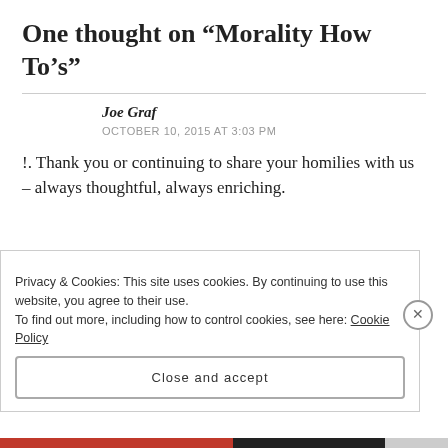One thought on “Morality How To’s”
Joe Graf
OCTOBER 10, 2015 AT 3:03 PM
!. Thank you or continuing to share your homilies with us – always thoughtful, always enriching.
Privacy & Cookies: This site uses cookies. By continuing to use this website, you agree to their use.
To find out more, including how to control cookies, see here: Cookie Policy
Close and accept